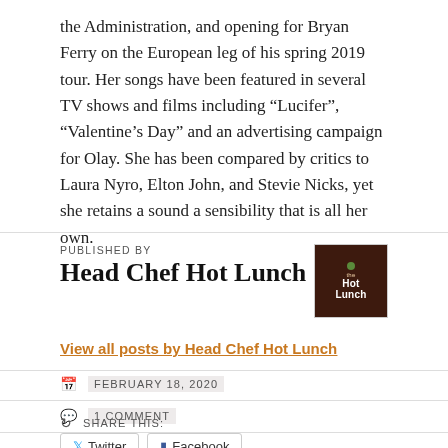the Administration, and opening for Bryan Ferry on the European leg of his spring 2019 tour. Her songs have been featured in several TV shows and films including “Lucifer”, “Valentine’s Day” and an advertising campaign for Olay. She has been compared by critics to Laura Nyro, Elton John, and Stevie Nicks, yet she retains a sound a sensibility that is all her own.
PUBLISHED BY
Head Chef Hot Lunch
[Figure (logo): Hot Lunch logo: dark brown square with green dot and white text reading Hot Lunch]
View all posts by Head Chef Hot Lunch
FEBRUARY 18, 2020
1 COMMENT
SHARE THIS:
Twitter  Facebook